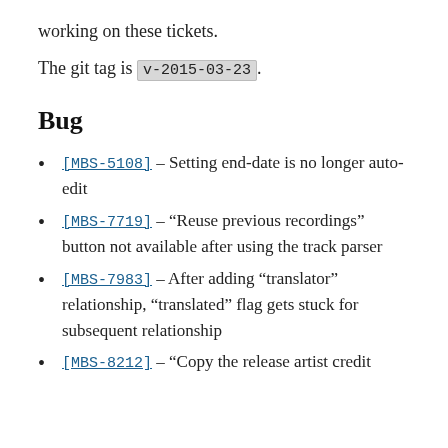working on these tickets.
The git tag is v-2015-03-23.
Bug
[MBS-5108] – Setting end-date is no longer auto-edit
[MBS-7719] – “Reuse previous recordings” button not available after using the track parser
[MBS-7983] – After adding “translator” relationship, “translated” flag gets stuck for subsequent relationship
[MBS-8212] – “Copy the release artist credit